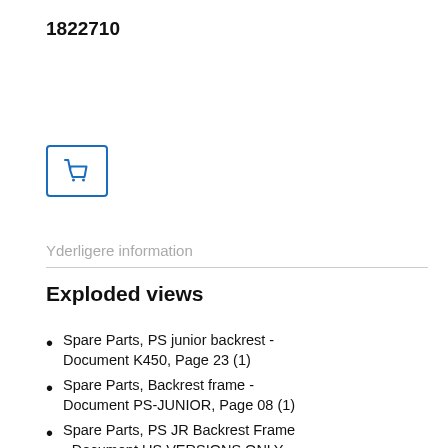1822710
[Figure (illustration): Shopping cart icon button with blue border]
Yderligere information
Exploded views
Spare Parts, PS junior backrest - Document K450, Page 23 (1)
Spare Parts, Backrest frame - Document PS-JUNIOR, Page 08 (1)
Spare Parts, PS JR Backrest Frame - Document US VERSIONS ONLY